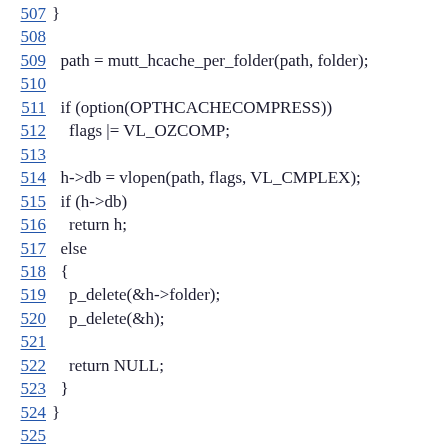507   }
508
509   path = mutt_hcache_per_folder(path, folder);
510
511   if (option(OPTHCACHECOMPRESS))
512     flags |= VL_OZCOMP;
513
514   h->db = vlopen(path, flags, VL_CMPLEX);
515   if (h->db)
516     return h;
517   else
518   {
519     p_delete(&h->folder);
520     p_delete(&h);
521
522     return NULL;
523   }
524 }
525
526 void
527 mutt_hcache_close(void *db)
528 {
529   struct header_cache *h = db;
530
531   if (!h)